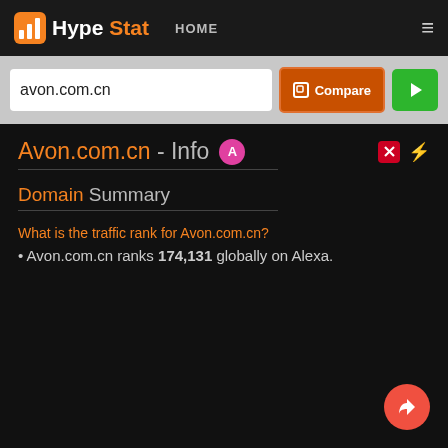HypeStat HOME
avon.com.cn
Avon.com.cn - Info
Domain Summary
What is the traffic rank for Avon.com.cn?
Avon.com.cn ranks 174,131 globally on Alexa.